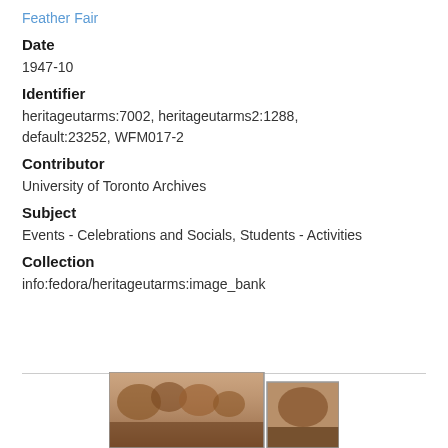Feather Fair
Date
1947-10
Identifier
heritageutarms:7002, heritageutarms2:1288, default:23252, WFM017-2
Contributor
University of Toronto Archives
Subject
Events - Celebrations and Socials, Students - Activities
Collection
info:fedora/heritageutarms:image_bank
[Figure (photo): Historical photograph showing outdoor scene, partially visible at bottom of page]